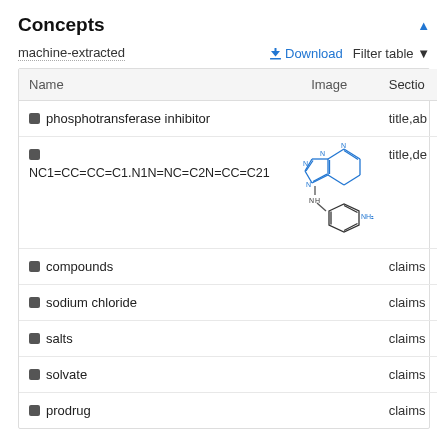Concepts
machine-extracted
| Name | Image | Sectio |
| --- | --- | --- |
| phosphotransferase inhibitor |  | title,ab |
| [tag] NC1=CC=CC=C1.N1N=NC=C2N=CC=C21 | [chemical structure image] | title,de |
| compounds |  | claims |
| sodium chloride |  | claims |
| salts |  | claims |
| solvate |  | claims |
| prodrug |  | claims |